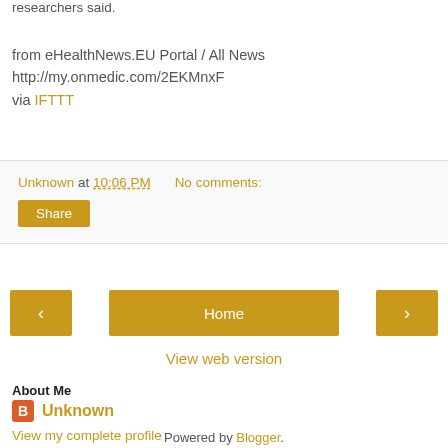researchers said.
from eHealthNews.EU Portal / All News
http://my.onmedic.com/2EKMnxF
via IFTTT
Unknown at 10:06 PM   No comments:
Share
Home
View web version
About Me
Unknown
View my complete profile
Powered by Blogger.